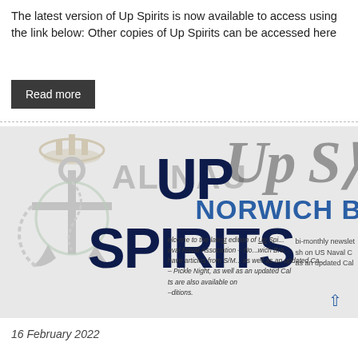The latest version of Up Spirits is now available to access using the link below: Other copies of Up Spirits can be accessed here
Read more
[Figure (photo): Up Spirits newsletter cover image with naval crest watermark, large bold dark navy text 'UP SPIRITS', partial text 'NORWICH B', and small newsletter excerpt text. Breadcrumb bar shows 'RNA Norwich — Up Spirits'.]
16 February 2022